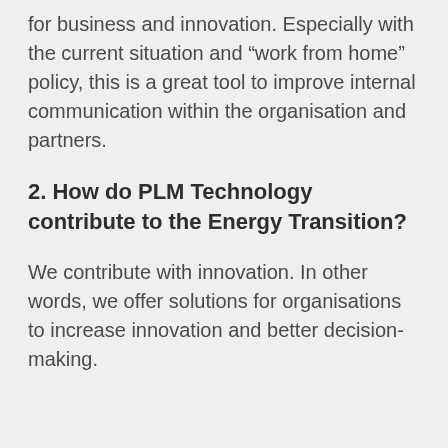for business and innovation. Especially with the current situation and “work from home” policy, this is a great tool to improve internal communication within the organisation and partners.
2. How do PLM Technology contribute to the Energy Transition?
We contribute with innovation. In other words, we offer solutions for organisations to increase innovation and better decision-making.